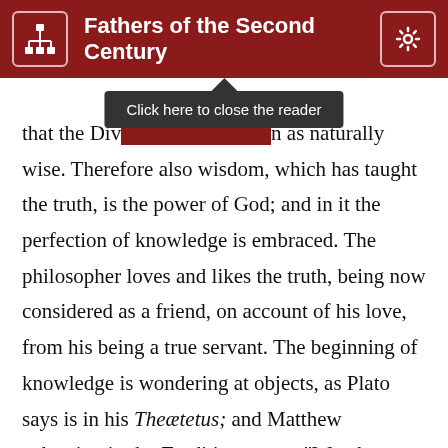Fathers of the Second Century
Click here to close the reader
that the Divine Logos is drawn as naturally wise. Therefore also wisdom, which has taught the truth, is the power of God; and in it the perfection of knowledge is embraced. The philosopher loves and likes the truth, being now considered as a friend, on account of his love, from his being a true servant. The beginning of knowledge is wondering at objects, as Plato says is in his Theætetus; and Matthew exhorting in the Traditions, says, “Wonder at what is before you;” laying this down first as the foundation of further knowledge. So also in the Gospel to the Hebrews it is written, “He that wonders shall reign, and he that has reigned shall